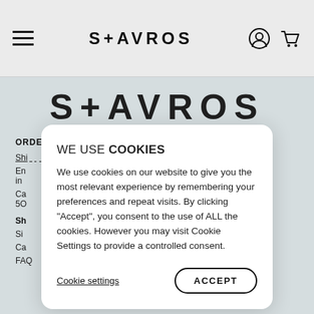[Figure (logo): S+AVROS brand logo in navigation bar]
S+AVROS navigation bar with hamburger menu, logo, and icons
[Figure (logo): S+AVROS large brand logo in footer background area]
ORDERS & SUPPORT
LEGAL
Shi...
En... in...
Ca... 50...
Sh...
Si...
Ca...
FAQ
Our Retailers
WE USE COOKIES
We use cookies on our website to give you the most relevant experience by remembering your preferences and repeat visits. By clicking "Accept", you consent to the use of ALL the cookies. However you may visit Cookie Settings to provide a controlled consent.
Cookie settings
ACCEPT